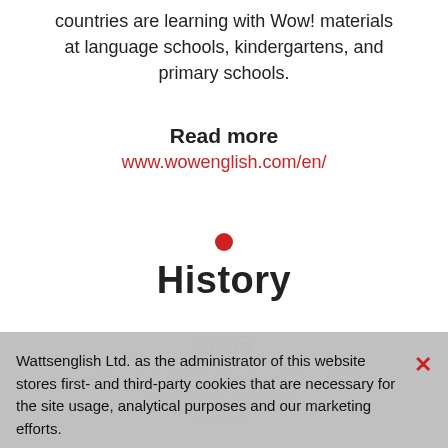countries are learning with Wow! materials at language schools, kindergartens, and primary schools.
Read more
www.wowenglish.com/en/
History
2005
was a recruitment and educational centre for teaching English to children.
Wattsenglish Ltd. as the administrator of this website stores first- and third-party cookies that are necessary for the site usage, analytical purposes and our marketing efforts.